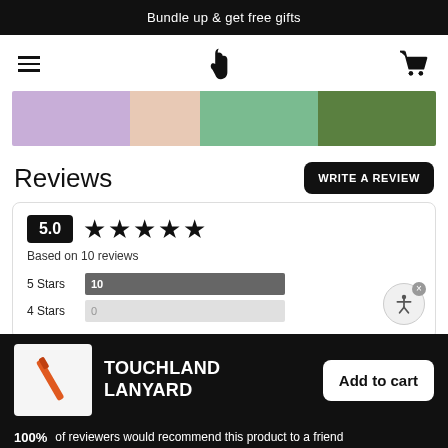Bundle up & get free gifts
[Figure (logo): Navigation bar with hamburger menu, hand logo icon, and shopping cart icon]
[Figure (photo): Strip of four product images: purple item, skin-toned item, green item, dark green item]
Reviews
WRITE A REVIEW
5.0 ★★★★★
Based on 10 reviews
5 Stars  10
4 Stars  0
[Figure (photo): Touchland Lanyard product image — orange lanyard on white background]
TOUCHLAND LANYARD
Add to cart
100%  of reviewers would recommend this product to a friend